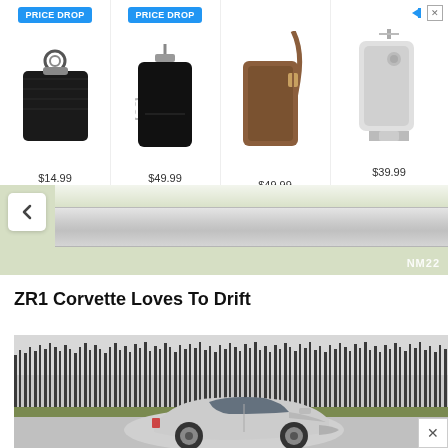[Figure (screenshot): Advertisement banner showing four phone accessories with prices: leather keychain case $14.99 (PRICE DROP), black phone wallet case $49.99 (PRICE DROP), brown leather crossbody phone case $49.99, light gray phone case with strap $39.99, and NOEMIE brand logo. Close/arrow buttons top right.]
[Figure (screenshot): Map area showing a road/highway with a chevron/back button on the left and NM22 watermark text in the lower right corner.]
ZR1 Corvette Loves To Drift
[Figure (photo): Photo of a silver/white Chevrolet Corvette ZR1 drifting on a road with bare winter trees in the background. A close button (X) appears in the lower right of the image area.]